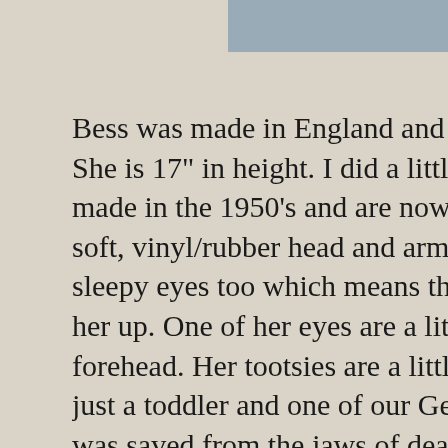[Figure (photo): Partial image visible at top right, muted blue-grey color]
Bess was made in England and has the v She is 17" in height. I did a little research made in the 1950's and are now classifie soft, vinyl/rubber head and arms.....when sleepy eyes too which means they close her up. One of her eyes are a little wonky forehead. Her tootsies are a little worse just a toddler and one of our German Sh was saved from the jaws of death just in mark the experience. I've had a lot of diff to hold onto...maybe it was that garish ye